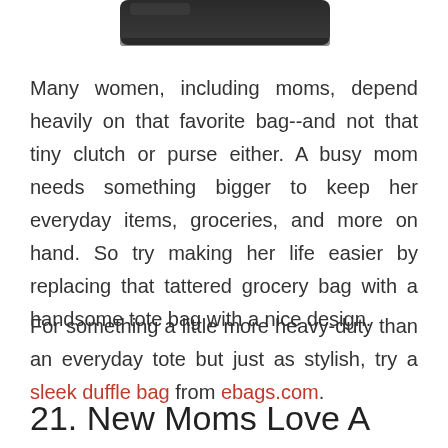[Figure (photo): Partial view of a dark/black bag (bottom portion cropped) visible at the top of the page]
Many women, including moms, depend heavily on that favorite bag--and not that tiny clutch or purse either. A busy mom needs something bigger to keep her everyday items, groceries, and more on hand. So try making her life easier by replacing that tattered grocery bag with a handsome tote bag with a nice design.
For something a little more heavy-duty than an everyday tote but just as stylish, try a sleek duffle bag from ebags.com.
21. New Moms Love A